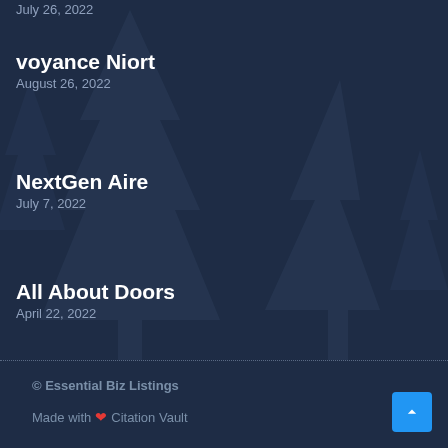voyance Niort
August 26, 2022
NextGen Aire
July 7, 2022
All About Doors
April 22, 2022
© Essential Biz Listings
Made with ❤ Citation Vault